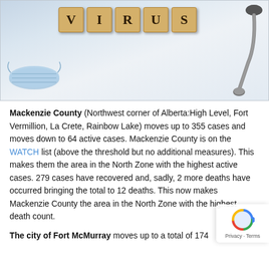[Figure (photo): Photo showing scrabble tiles spelling VIRUS on a white surface, with a surgical face mask on the left and a stethoscope on the right]
Mackenzie County (Northwest corner of Alberta:High Level, Fort Vermillion, La Crete, Rainbow Lake) moves up to 355 cases and moves down to 64 active cases. Mackenzie County is on the WATCH list (above the threshold but no additional measures). This makes them the area in the North Zone with the highest active cases. 279 cases have recovered and, sadly, 2 more deaths have occurred bringing the total to 12 deaths. This now makes Mackenzie County the area in the North Zone with the highest death count.
The city of Fort McMurray moves up to a total of 174